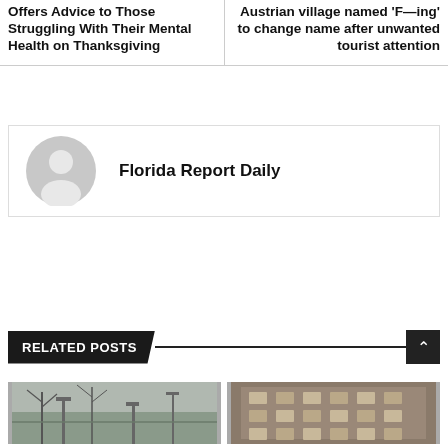Offers Advice to Those Struggling With Their Mental Health on Thanksgiving
Austrian village named ‘F—ing’ to change name after unwanted tourist attention
Florida Report Daily
RELATED POSTS
[Figure (photo): Thumbnail image left - tree branches and street lamps in winter]
[Figure (photo): Thumbnail image right - urban building facade]